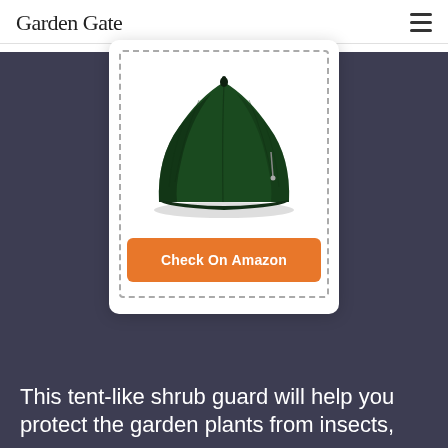Garden Gate
[Figure (photo): A dark green tent-like shrub guard / plant cover with a domed shape and a small handle on top, displayed on a white background inside a dashed border box with a 'Check On Amazon' orange button below it.]
This tent-like shrub guard will help you protect the garden plants from insects,